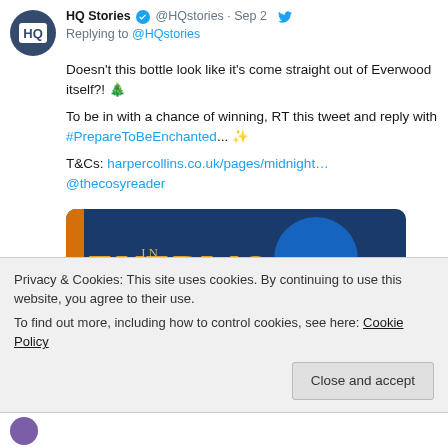[Figure (screenshot): Screenshot of a Twitter/social media post by HQ Stories (@HQstories). Shows avatar with HQ logo, reply text, tweet body with hashtag and links, and an image of a book/bottle with 'Everwood' text on dark blue background. Overlaid with cookie consent banner.]
HQ Stories @HQstories · Replying to @HQstories
Doesn't this bottle look like it's come straight out of Everwood itself?! 🎄

To be in with a chance of winning, RT this tweet and reply with #PrepareToBeEnchanted... ✨

T&Cs: harpercollins.co.uk/pages/midnight… @thecosyreader
Privacy & Cookies: This site uses cookies. By continuing to use this website, you agree to their use.
To find out more, including how to control cookies, see here: Cookie Policy
Close and accept